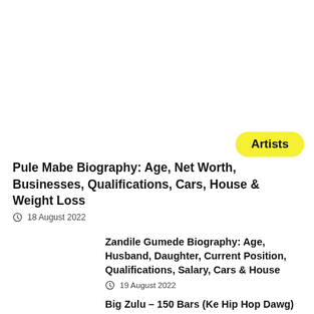Artists
Pule Mabe Biography: Age, Net Worth, Businesses, Qualifications, Cars, House & Weight Loss
18 August 2022
Zandile Gumede Biography: Age, Husband, Daughter, Current Position, Qualifications, Salary, Cars & House
19 August 2022
Big Zulu – 150 Bars (Ke Hip Hop Dawg)